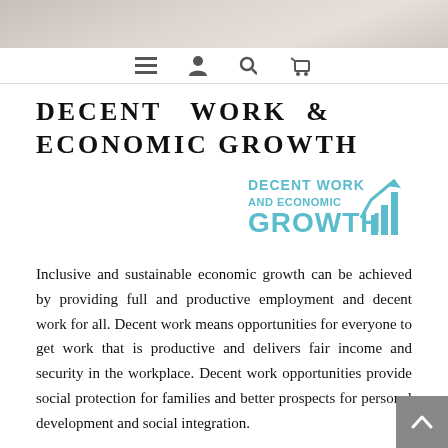[Figure (photo): Header image with navigation bar showing menu, user, search, and cart icons]
DECENT WORK & ECONOMIC GROWTH
[Figure (logo): UN SDG logo for Decent Work and Economic Growth showing teal text and bar chart growth icon]
Inclusive and sustainable economic growth can be achieved by providing full and productive employment and decent work for all. Decent work means opportunities for everyone to get work that is productive and delivers fair income and security in the workplace. Decent work opportunities provide social protection for families and better prospects for personal development and social integration.